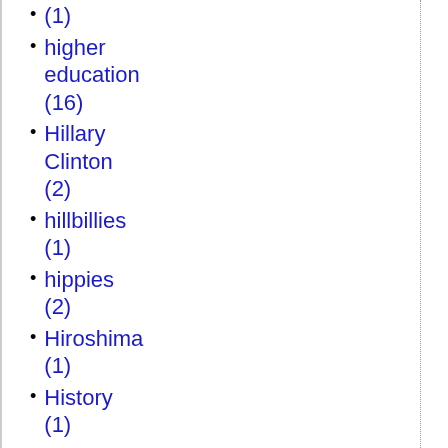(1)
higher education (16)
Hillary Clinton (2)
hillbillies (1)
hippies (2)
Hiroshima (1)
History (1)
history (25)
Hobby Lobby (1)
holidays (17)
Hollywood (1)
holy